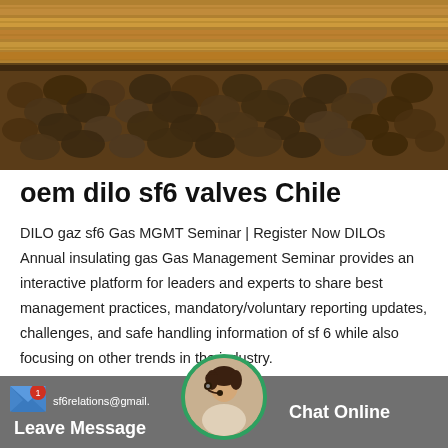[Figure (photo): Outdoor photo showing stacks of lumber/wood planks in the background and a large pile of rocks/aggregate in the foreground, typical of a construction or industrial site.]
oem dilo sf6 valves Chile
DILO gaz sf6 Gas MGMT Seminar | Register Now DILOs Annual insulating gas Gas Management Seminar provides an interactive platform for leaders and experts to share best management practices, mandatory/voluntary reporting updates, challenges, and safe handling information of sf 6 while also focusing on other trends in the industry.
sf6relations@gmail.   Leave Message   Chat Online